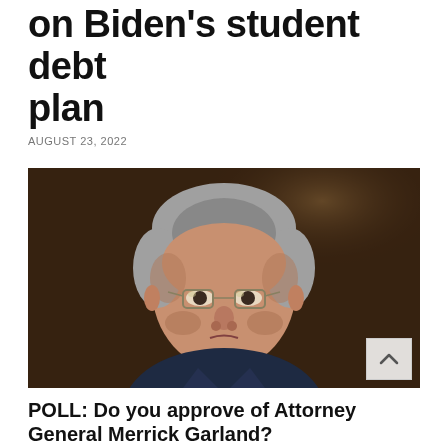on Biden's student debt plan
AUGUST 23, 2022
[Figure (photo): Attorney General Merrick Garland, a middle-aged man with grey hair and glasses, wearing a dark suit with a blue tie, looking upward against a dark brown blurred background]
POLL: Do you approve of Attorney General Merrick Garland?